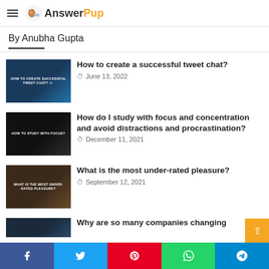AnswerPup
By Anubha Gupta
[Figure (screenshot): Thumbnail image for 'How to create a successful tweet chat?' article showing a phone screen]
How to create a successful tweet chat?
June 13, 2022
[Figure (screenshot): Thumbnail image for 'How do I study with focus and concentration' showing a person in dark setting]
How do I study with focus and concentration and avoid distractions and procrastination?
December 11, 2021
[Figure (screenshot): Thumbnail for 'What is the most under-rated pleasure?' showing a man's face]
What is the most under-rated pleasure?
September 12, 2021
[Figure (screenshot): Partial thumbnail for next article]
Why are so many companies changing...
Facebook | Twitter | Pinterest | WhatsApp | Telegram